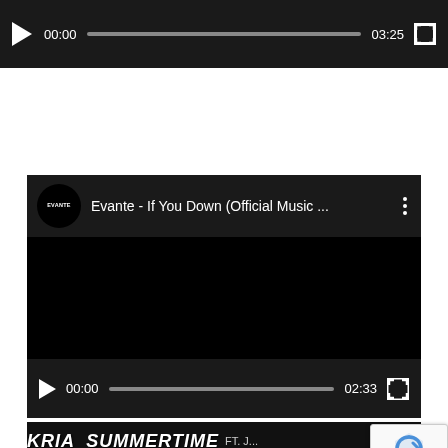[Figure (screenshot): Audio/video player bar with play button, timestamp 00:00, progress bar, and duration 03:25, fullscreen button, dark background]
[Figure (screenshot): YouTube-style embedded video player for 'Evante - If You Down (Official Music ...' with channel icon labeled EVANTE, three-dot menu, black video area, and player controls showing 00:00 / 02:33 with progress bar and fullscreen button]
[Figure (screenshot): YouTube-style embedded video thumbnail for 'Summertime ft. JMARS' with channel avatar of woman with afro, large text overlay reading 'KRIA SUMMERTIME FT. J...' partially visible, with reCAPTCHA badge overlay in bottom right]